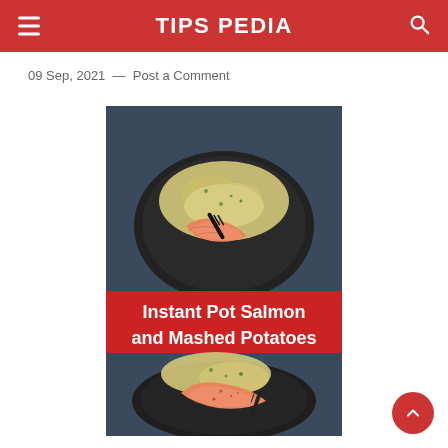TIPS PEDIA
09 Sep, 2021  —  Post a Comment
[Figure (photo): Food photo showing salmon and mashed potatoes on dark plates with overlaid red banner text 'Instant Pot Salmon and Mashed Potatoes']